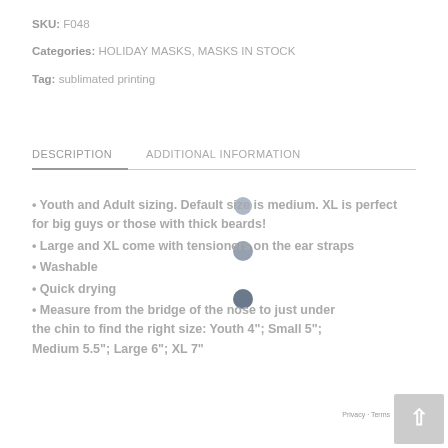SKU: F048
Categories: HOLIDAY MASKS, MASKS IN STOCK
Tag: sublimated printing
DESCRIPTION    ADDITIONAL INFORMATION
• Youth and Adult sizing. Default size is medium. XL is perfect for big guys or those with thick beards!
• Large and XL come with tensioners on the ear straps
• Washable
• Quick drying
• Measure from the bridge of the nose to just under the chin to find the right size: Youth 4"; Small 5"; Medium 5.5"; Large 6"; XL 7"